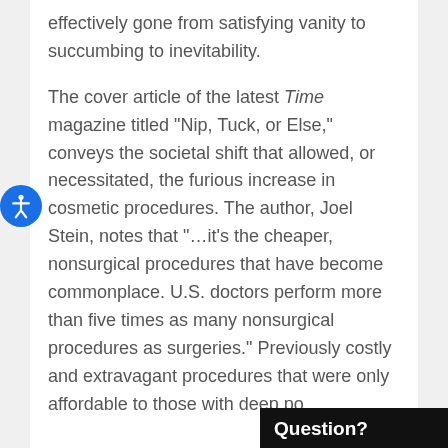effectively gone from satisfying vanity to succumbing to inevitability.
The cover article of the latest Time magazine titled "Nip, Tuck, or Else," conveys the societal shift that allowed, or necessitated, the furious increase in cosmetic procedures. The author, Joel Stein, notes that "…it's the cheaper, nonsurgical procedures that have become commonplace. U.S. doctors perform more than five times as many nonsurgical procedures as surgeries." Previously costly and extravagant procedures that were only affordable to those with deep po
Question?